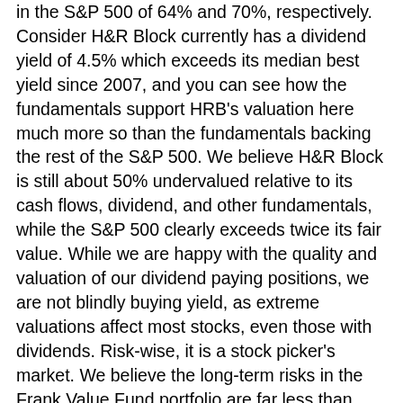in the S&P 500 of 64% and 70%, respectively. Consider H&R Block currently has a dividend yield of 4.5% which exceeds its median best yield since 2007, and you can see how the fundamentals support HRB's valuation here much more so than the fundamentals backing the rest of the S&P 500. We believe H&R Block is still about 50% undervalued relative to its cash flows, dividend, and other fundamentals, while the S&P 500 clearly exceeds twice its fair value. While we are happy with the quality and valuation of our dividend paying positions, we are not blindly buying yield, as extreme valuations affect most stocks, even those with dividends. Risk-wise, it is a stock picker's market. We believe the long-term risks in the Frank Value Fund portfolio are far less than indices like the S&P 500 and other funds.